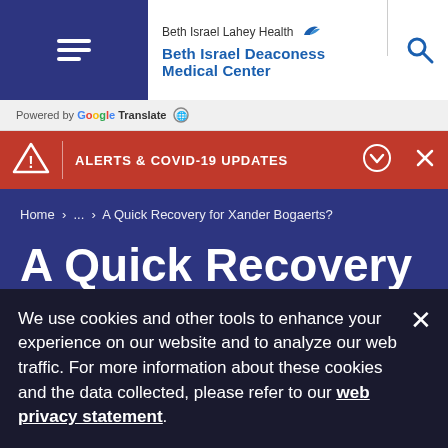Beth Israel Lahey Health Beth Israel Deaconess Medical Center
Powered by Google Translate
ALERTS & COVID-19 UPDATES
Home > ... > A Quick Recovery for Xander Bogaerts?
A Quick Recovery for Xander Bogaerts?
We use cookies and other tools to enhance your experience on our website and to analyze our web traffic. For more information about these cookies and the data collected, please refer to our web privacy statement.